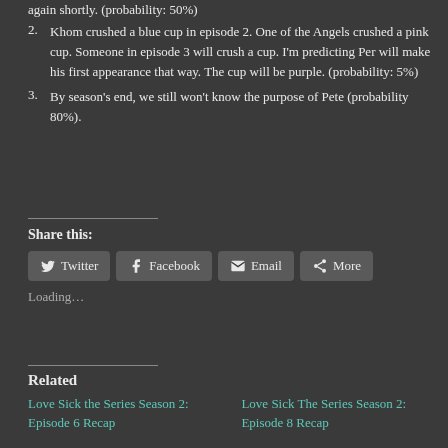again shortly. (probability: 50%)
2. Khom crushed a blue cup in episode 2. One of the Angels crushed a pink cup. Someone in episode 3 will crush a cup. I'm predicting Per will make his first appearance that way. The cup will be purple. (probability: 5%)
3. By season's end, we still won't know the purpose of Pete (probability 80%).
Share this:
Twitter | Facebook | Email | More
Loading...
Related
Love Sick the Series Season 2: Episode 6 Recap
Love Sick The Series Season 2: Episode 8 Recap